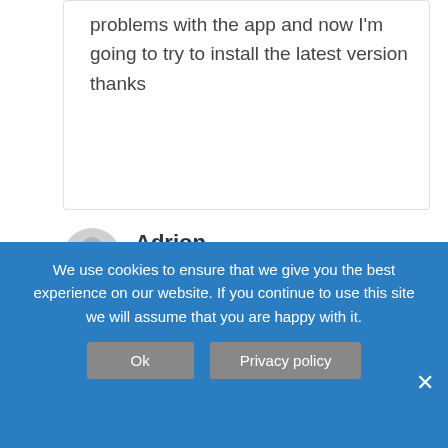problems with the app and now I'm going to try to install the latest version thanks
Adrion
October 28, 2020 at 3:45 am | Reply
Spotify has been Revoked pls?
We use cookies to ensure that we give you the best experience on our website. If you continue to use this site we will assume that you are happy with it.